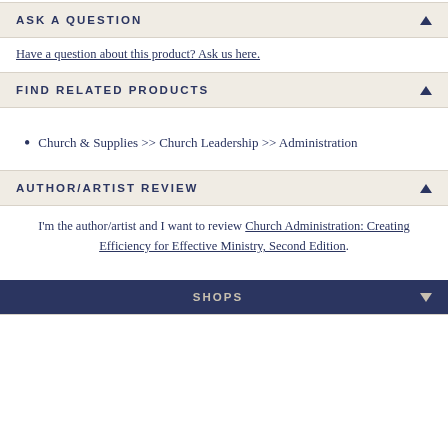ASK A QUESTION
Have a question about this product? Ask us here.
FIND RELATED PRODUCTS
Church & Supplies >> Church Leadership >> Administration
AUTHOR/ARTIST REVIEW
I'm the author/artist and I want to review Church Administration: Creating Efficiency for Effective Ministry, Second Edition.
SHOPS